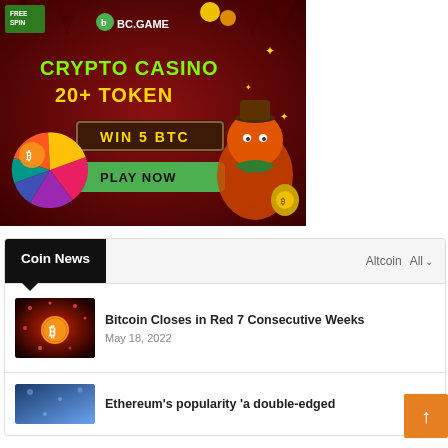[Figure (illustration): BC.GAME crypto casino advertisement banner on dark red background. Shows 'FREE SPIN' badge, BC.GAME logo, 'CRYPTO CASINO 20+ TOKEN' text in green and yellow, 'WIN 5 BTC' in a brown box, 'PLAY NOW' green button, a cartoon orange dinosaur character, a spinning wheel with crypto tokens, and decorative gold coins.]
Coin News
Altcoin  All
Bitcoin Closes in Red 7 Consecutive Weeks
May 18, 2022
Ethereum's popularity 'a double-edged